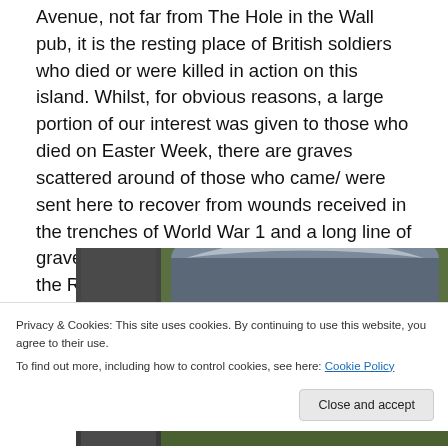Avenue, not far from The Hole in the Wall pub, it is the resting place of British soldiers who died or were killed in action on this island. Whilst, for obvious reasons, a large portion of our interest was given to those who died on Easter Week, there are graves scattered around of those who came/ were sent here to recover from wounds received in the trenches of World War 1 and a long line of graves for those who died in the sinking of the RMS Leinster in 1918.
[Figure (photo): Photograph of a graveyard showing a dark stone grave marker/headstone with arched top, set against green grass and a path]
Privacy & Cookies: This site uses cookies. By continuing to use this website, you agree to their use.
To find out more, including how to control cookies, see here: Cookie Policy